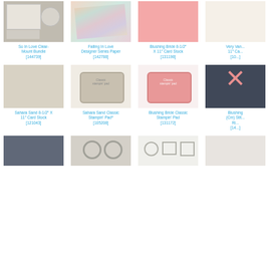[Figure (photo): So In Love Clear-Mount Bundle product photo]
[Figure (photo): Falling In Love Designer Series Paper product photo]
[Figure (photo): Blushing Bride 8-1/2 X 11 Card Stock product photo]
[Figure (photo): Very Vanilla 11 Card Stock product photo]
So In Love Clear-Mount Bundle [144739]
Falling In Love Designer Series Paper [142788]
Blushing Bride 8-1/2" X 11" Card Stock [131198]
Very Vanilla 11" Ca... [10...]
[Figure (photo): Sahara Sand 8-1/2 X 11 Card Stock product photo]
[Figure (photo): Sahara Sand Classic Stampin Pad product photo]
[Figure (photo): Blushing Bride Classic Stampin Pad product photo]
[Figure (photo): Blushing Bride ribbon product photo]
Sahara Sand 8-1/2" X 11" Card Stock [121043]
Sahara Sand Classic Stampin' Pad* [105208]
Blushing Bride Classic Stampin' Pad [131172]
Blushing (Cm) Stit... Ri... [14...]
[Figure (photo): Dark gray fabric product photo]
[Figure (photo): Flower embellishments product photo]
[Figure (photo): Shape outlines product photo]